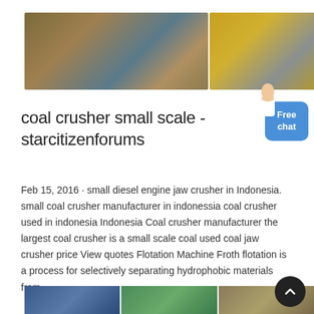[Figure (photo): Three banner images showing coal crushing and mining equipment/facilities]
coal crusher small scale - starcitizenforums
Feb 15, 2016 · small diesel engine jaw crusher in Indonesia. small coal crusher manufacturer in indonessia coal crusher used in indonesia Indonesia Coal crusher manufacturer the largest coal crusher is a small scale coal used coal jaw crusher price View quotes Flotation Machine Froth flotation is a process for selectively separating hydrophobic materials from
[Figure (photo): Three bottom banner images showing mining/industrial equipment]